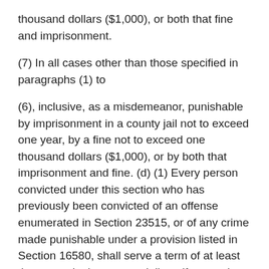thousand dollars ($1,000), or both that fine and imprisonment.
(7) In all cases other than those specified in paragraphs (1) to
(6), inclusive, as a misdemeanor, punishable by imprisonment in a county jail not to exceed one year, by a fine not to exceed one thousand dollars ($1,000), or by both that imprisonment and fine. (d) (1) Every person convicted under this section who has previously been convicted of an offense enumerated in Section 23515, or of any crime made punishable under a provision listed in Section 16580, shall serve a term of at least three months in a county jail, or, if granted probation or if the execution or imposition of sentence is suspended, it shall be a condition thereof that the person be